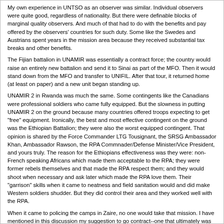My own experience in UNTSO as an observer was similar. Individual observers were quite good, regardless of nationality. But there were definable blocks of marginal quality observers. And much of that had to do with the benefits and pay offered by the observers' countries for such duty. Some like the Swedes and Austrians spent years in the mission area because they received substantial tax breaks and other benefits.
The Fijian battalion in UNAMIR was essentially a contract force; the country would raise an entirely new battalion and send it to Sinai as part of the MFO. Then it would stand down from the MFO and transfer to UNIFIL. After that tour, it returned home (at least on paper) and a new unit began standing up.
UNAMIR 2 in Rwanda was much the same. Some contingents like the Canadians were professional soldiers who came fully equipped. But the slowness in putting UNAMIR 2 on the ground because many countries offered troops expecting to get "free" equipment. Ironically, the best and most effective contingent on the ground was the Ethiopian Battalion; they were also the worst equipped contingent. That opinion is shared by the Force Commander LTG Tousignant, the SRSG Ambassador Khan, Ambassador Rawson, the RPA Commnader/Defense Minister/Vice President, and yours truly. The reason for the Ethiopians effectiveness was they were: non-French speaking Africans which made them acceptable to the RPA; they were former rebels themselves and that made the RPA respect them; and they would shoot when necessary and ask later which made the RPA love them. Their "garrison" skills when it came to neatness and field sanitation would and did make Western soldiers shudder. But they did control their area and they worked well with the RPA.
When it came to policing the camps in Zaire, no one would take that mission. I have mentioned in this discussion my suggestion to go contract--one that ultimately was taken. The UN looked at using UNAMIR 2 to do the job; that was still born. Another company run by Brits looked at it; I ran into their negotiator on a UN flight in Nov 94. I knew him from Zaire and considered him to be a friend. He had another Brit with him who had retired SAS stamped on his forehead. I told them both to make sure that their statement of work allowed them to shoot people. They grinned and said they had asked for an "aggressive ROE". They did not get the job; it went to an element of the Zairian Army that was tied to the Israeli contractor I brought out to Goma. It was a bandaid on a sucking chest wound at best but it was the best we could come